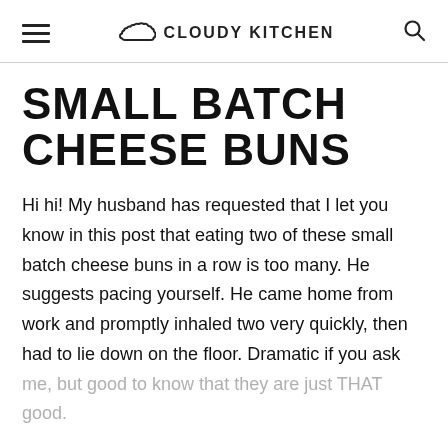CLOUDY KITCHEN
SMALL BATCH CHEESE BUNS
Hi hi! My husband has requested that I let you know in this post that eating two of these small batch cheese buns in a row is too many. He suggests pacing yourself. He came home from work and promptly inhaled two very quickly, then had to lie down on the floor. Dramatic if you ask me, but good to know that they are just THAT good.